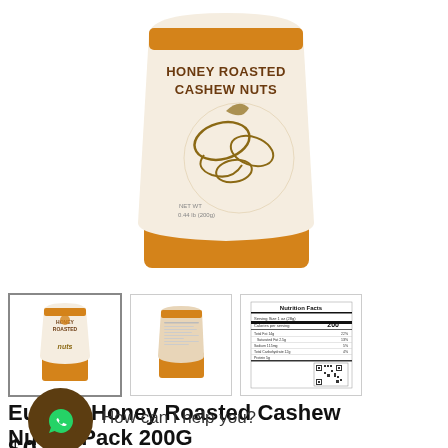[Figure (photo): Main product image: Honey Roasted Cashew Nuts bag, white and orange packaging with cashew nut illustration, top portion visible]
[Figure (photo): Thumbnail 1: Front of Honey Roasted Cashew Nuts bag with logo]
[Figure (photo): Thumbnail 2: Back of Honey Roasted Cashew Nuts bag]
[Figure (photo): Thumbnail 3: Nutrition facts label with QR code]
Eubiz – Honey Roasted Cashew Nuts – Pack 200G
How can I help you?
$0.00